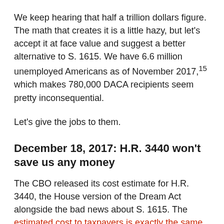We keep hearing that half a trillion dollars figure. The math that creates it is a little hazy, but let's accept it at face value and suggest a better alternative to S. 1615. We have 6.6 million unemployed Americans as of November 2017,¹⁵ which makes 780,000 DACA recipients seem pretty inconsequential.
Let's give the jobs to them.
December 18, 2017: H.R. 3440 won't save us any money
The CBO released its cost estimate for H.R. 3440, the House version of the Dream Act alongside the bad news about S. 1615. The estimated cost to taxpayers is exactly the same as the Senate bill: